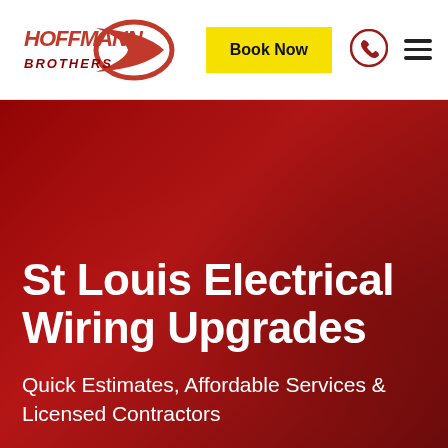[Figure (logo): Hoffmann Brothers logo — stylized red italic text with swoosh shape]
Book Now
[Figure (illustration): Phone icon inside a red circle]
[Figure (illustration): Hamburger menu icon (three horizontal lines)]
St Louis Electrical Wiring Upgrades
Quick Estimates, Affordable Services & Licensed Contractors